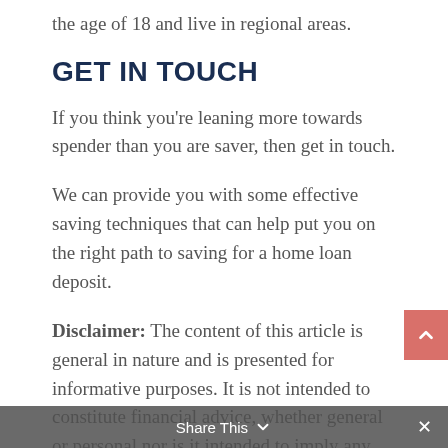the age of 18 and live in regional areas.
GET IN TOUCH
If you think you're leaning more towards spender than you are saver, then get in touch.
We can provide you with some effective saving techniques that can help put you on the right path to saving for a home loan deposit.
Disclaimer: The content of this article is general in nature and is presented for informative purposes. It is not intended to constitute financial advice, whether general or personal nor is it intended to imply any
Share This